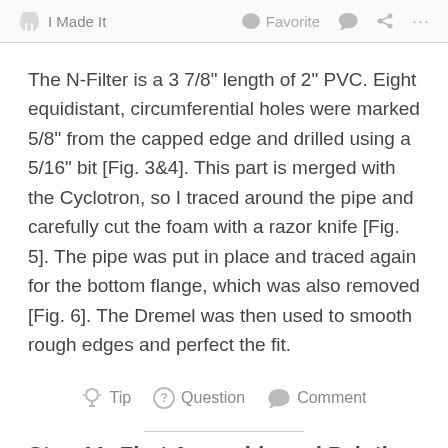I Made It   Favorite   Comment   Share   ...
The N-Filter is a 3 7/8" length of 2" PVC. Eight equidistant, circumferential holes were marked 5/8" from the capped edge and drilled using a 5/16" bit [Fig. 3&4]. This part is merged with the Cyclotron, so I traced around the pipe and carefully cut the foam with a razor knife [Fig. 5]. The pipe was put in place and traced again for the bottom flange, which was also removed [Fig. 6]. The Dremel was then used to smooth rough edges and perfect the fit.
Tip   Question   Comment
Step 11: First Assembly and Painting